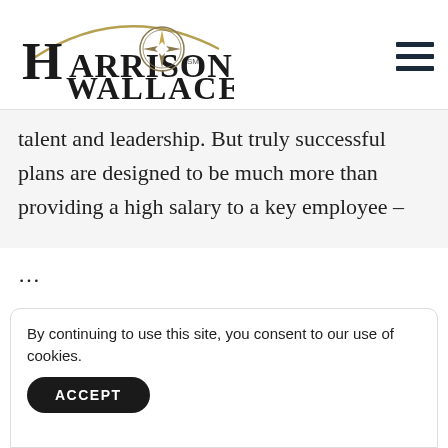[Figure (logo): Harrison Wallace logo with compass rose and decorative arc]
talent and leadership. But truly successful plans are designed to be much more than providing a high salary to a key employee – …
1 2 3 … 87 88 89
By continuing to use this site, you consent to our use of cookies.
ACCEPT